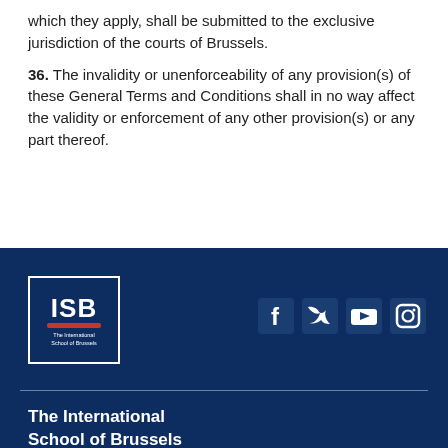which they apply, shall be submitted to the exclusive jurisdiction of the courts of Brussels.
36. The invalidity or unenforceability of any provision(s) of these General Terms and Conditions shall in no way affect the validity or enforcement of any other provision(s) or any part thereof.
[Figure (logo): ISB - The International School of Brussels logo in white on dark navy background with red underline accent, inside a white-bordered box]
[Figure (infographic): Social media icons: Facebook, Twitter, YouTube, Instagram in white on dark navy background]
The International School of Brussels